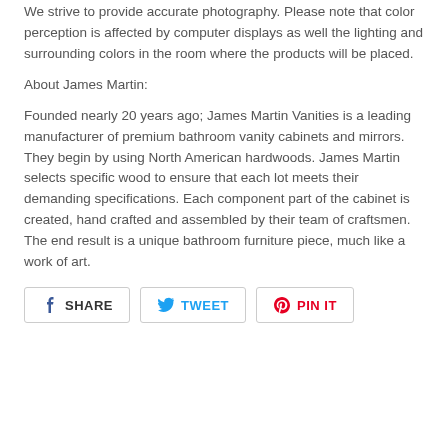We strive to provide accurate photography. Please note that color perception is affected by computer displays as well the lighting and surrounding colors in the room where the products will be placed.
About James Martin:
Founded nearly 20 years ago; James Martin Vanities is a leading manufacturer of premium bathroom vanity cabinets and mirrors. They begin by using North American hardwoods. James Martin selects specific wood to ensure that each lot meets their demanding specifications. Each component part of the cabinet is created, hand crafted and assembled by their team of craftsmen. The end result is a unique bathroom furniture piece, much like a work of art.